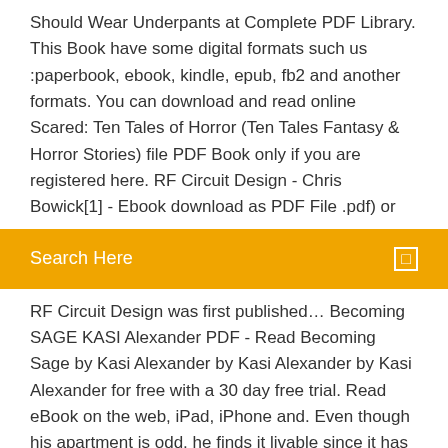Should Wear Underpants at Complete PDF Library. This Book have some digital formats such us :paperbook, ebook, kindle, epub, fb2 and another formats. You can download and read online Scared: Ten Tales of Horror (Ten Tales Fantasy & Horror Stories) file PDF Book only if you are registered here. RF Circuit Design - Chris Bowick[1] - Ebook download as PDF File .pdf) or
Search Here
RF Circuit Design was first published… Becoming SAGE KASI Alexander PDF - Read Becoming Sage by Kasi Alexander by Kasi Alexander by Kasi Alexander for free with a 30 day free trial. Read eBook on the web, iPad, iPhone and. Even though his apartment is odd, he finds it livable since it has a low rent. Nate doesn't have a girlfriend, plans for the future, or money in the bank; things that gives him a lot to think about.
Download file Free Book PDF Kati of Terra Book One - Escape from the Drowned Planet at Complete PDF